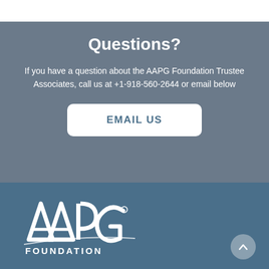Questions?
If you have a question about the AAPG Foundation Trustee Associates, call us at +1-918-560-2644 or email below
EMAIL US
[Figure (logo): AAPG Foundation logo with large stylized letters AAPG and word FOUNDATION below, white on blue background]